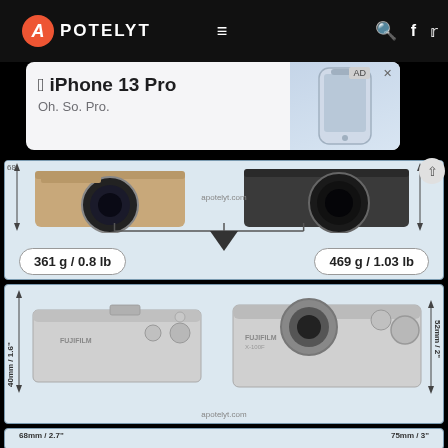APOTELYT
[Figure (screenshot): iPhone 13 Pro advertisement banner - 'Oh. So. Pro.']
[Figure (engineering-diagram): Camera size comparison panel showing two Fujifilm cameras side by side with weight labels: left camera 361 g / 0.8 lb, right camera 469 g / 1.03 lb. Attribution: apotelyt.com]
[Figure (engineering-diagram): Top-view camera size comparison: left camera 40mm / 1.6" height, right camera 52mm / 2" height. Attribution: apotelyt.com]
[Figure (engineering-diagram): Rear-view camera size comparison: left camera 68mm / 2.7" height, 117mm / 4.6" width; right camera 75mm / 3" height, 127mm / 5" width]